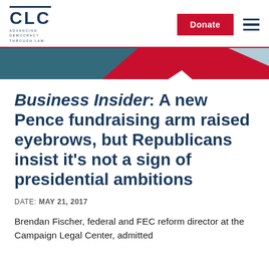[Figure (logo): CLC - Campaign Legal Center logo with tagline 'Advancing Democracy Through Law']
[Figure (infographic): Decorative geometric banner with dark teal, red, and light blue triangular shapes]
Business Insider: A new Pence fundraising arm raised eyebrows, but Republicans insist it's not a sign of presidential ambitions
DATE: MAY 21, 2017
Brendan Fischer, federal and FEC reform director at the Campaign Legal Center, admitted